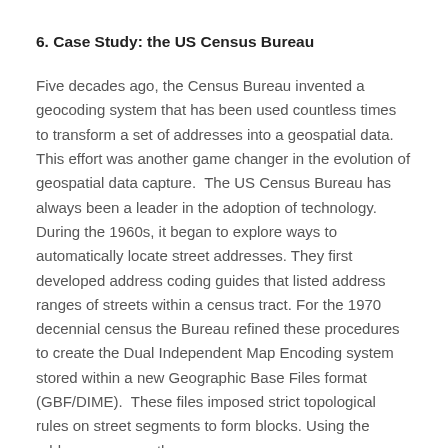6. Case Study: the US Census Bureau
Five decades ago, the Census Bureau invented a geocoding system that has been used countless times to transform a set of addresses into a geospatial data.  This effort was another game changer in the evolution of geospatial data capture.  The US Census Bureau has always been a leader in the adoption of technology. During the 1960s, it began to explore ways to automatically locate street addresses. They first developed address coding guides that listed address ranges of streets within a census tract. For the 1970 decennial census the Bureau refined these procedures to create the Dual Independent Map Encoding system stored within a new Geographic Base Files format (GBF/DIME).  These files imposed strict topological rules on street segments to form blocks. Using the address range on the